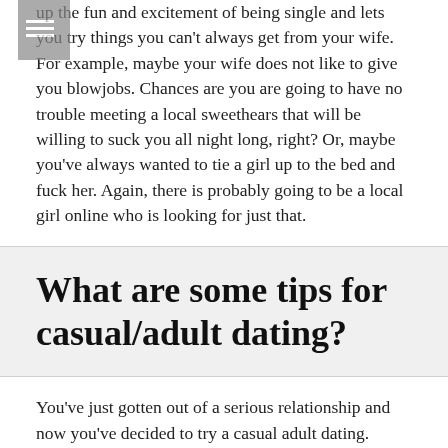up the fun and excitement of being single and lets you try things you can't always get from your wife. For example, maybe your wife does not like to give you blowjobs. Chances are you are going to have no trouble meeting a local sweethears that will be willing to suck you all night long, right? Or, maybe you've always wanted to tie a girl up to the bed and fuck her. Again, there is probably going to be a local girl online who is looking for just that.
What are some tips for casual/adult dating?
You've just gotten out of a serious relationship and now you've decided to try a casual adult dating. Where do you start? Are you rusty? There are a few things that you can do…